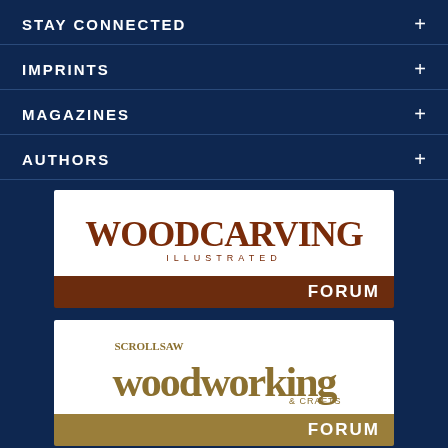STAY CONNECTED
IMPRINTS
MAGAZINES
AUTHORS
[Figure (logo): Woodcarving Illustrated Forum logo — white background with brown serif text 'WOODCARVING ILLUSTRATED' and a dark brown bar with white bold 'FORUM']
[Figure (logo): ScrollSaw Woodworking & Crafts Forum logo — white background with gold/tan serif text and a gold bar with white bold 'FORUM']